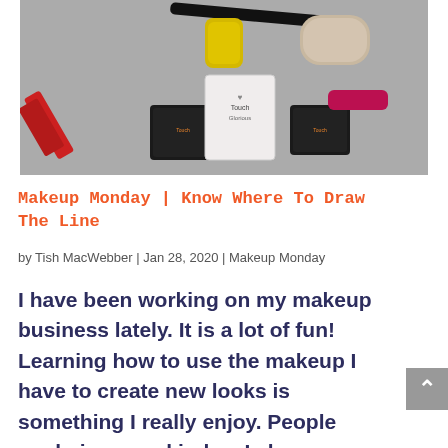[Figure (photo): A flat-lay photo of various makeup products including lipsticks, eyeliner, and cream products labeled 'Touch Glorious' on a grey textured surface.]
Makeup Monday | Know Where To Draw The Line
by Tish MacWebber | Jan 28, 2020 | Makeup Monday
I have been working on my makeup business lately. It is a lot of fun! Learning how to use the makeup I have to create new looks is something I really enjoy. People are being very kind as I share my selfies online. Consequently, I like to think I am getting better all of the time, and practicing is how I learn.